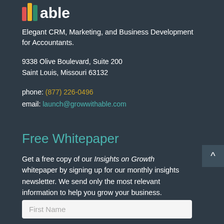[Figure (logo): able logo with colored bar chart icon (red, yellow, green bars) and white 'able' wordmark]
Elegant CRM, Marketing, and Business Development for Accountants.
9338 Olive Boulevard, Suite 200
Saint Louis, Missouri 63132
phone: (877) 226-0496
email: launch@growwithable.com
Free Whitepaper
Get a free copy of our Insights on Growth whitepaper by signing up for our monthly insights newsletter. We send only the most relevant information to help you grow your business.
First Name